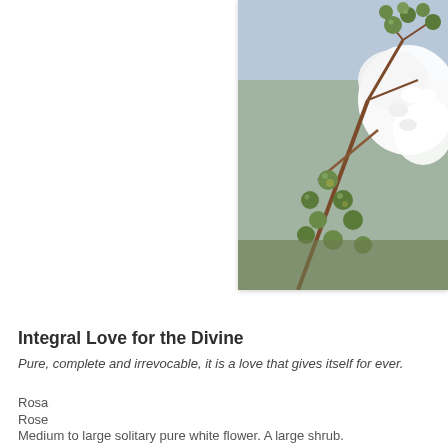[Figure (photo): Close-up photograph of a plant branch with green round buds and clusters of white flowers against a light blue sky background.]
Integral Love for the Divine
Pure, complete and irrevocable, it is a love that gives itself for ever.
Rosa
Rose
Medium to large solitary pure white flower. A large shrub.